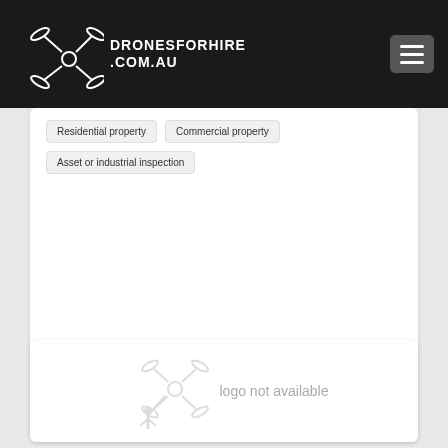DRONESFORHIRE.COM.AU
Residential property
Commercial property
Asset or industrial inspection
Full profile page
[Figure (logo): Logo not available placeholder with drone icon graphic and text 'logo not available']